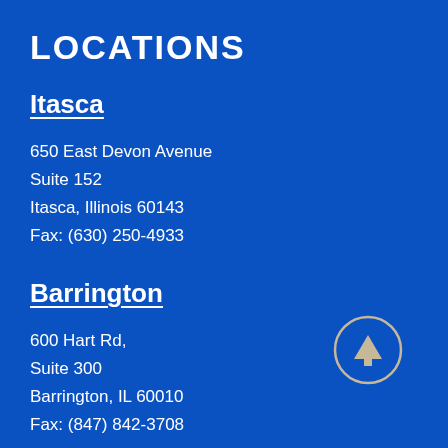LOCATIONS
Itasca
650 East Devon Avenue
Suite 152
Itasca, Illinois 60143
Fax: (630) 250-4933
Barrington
600 Hart Rd,
Suite 300
Barrington, IL 60010
Fax: (847) 842-3708
[Figure (infographic): A circular button with an upward-pointing arrow icon, outlined in white/beige on a blue background.]